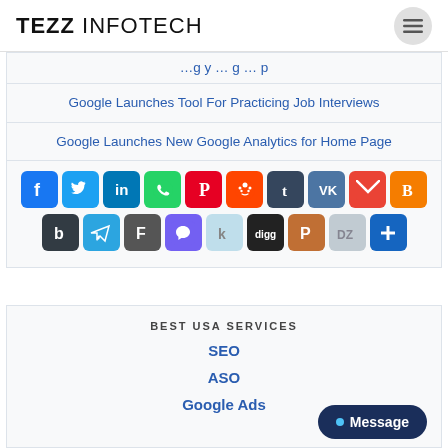TEZZ INFOTECH
Google Launches Tool For Practicing Job Interviews
Google Launches New Google Analytics for Home Page
[Figure (infographic): Social media sharing icons: Facebook, Twitter, LinkedIn, WhatsApp, Pinterest, Reddit, Tumblr, VK, Gmail, Blogger, Buffer, Telegram, Flipboard, Viber, Kik, Digg, PinIt, DZone, AddThis]
BEST USA SERVICES
SEO
ASO
Google Ads